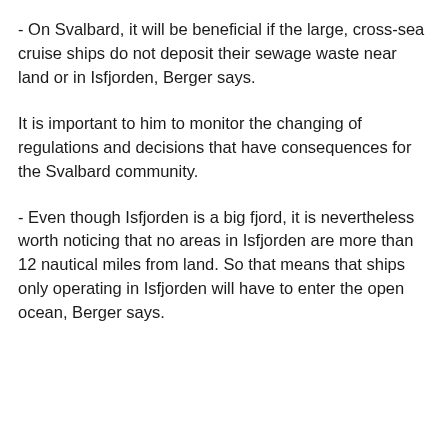- On Svalbard, it will be beneficial if the large, cross-sea cruise ships do not deposit their sewage waste near land or in Isfjorden, Berger says.
It is important to him to monitor the changing of regulations and decisions that have consequences for the Svalbard community.
- Even though Isfjorden is a big fjord, it is nevertheless worth noticing that no areas in Isfjorden are more than 12 nautical miles from land. So that means that ships only operating in Isfjorden will have to enter the open ocean, Berger says.